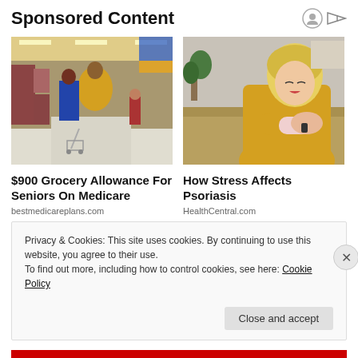Sponsored Content
[Figure (photo): People shopping in a grocery store with shopping carts in the aisles]
$900 Grocery Allowance For Seniors On Medicare
bestmedicareplans.com
[Figure (photo): Young blonde woman in yellow sweater scratching her arm, possibly showing eczema or psoriasis symptoms]
How Stress Affects Psoriasis
HealthCentral.com
Privacy & Cookies: This site uses cookies. By continuing to use this website, you agree to their use.
To find out more, including how to control cookies, see here: Cookie Policy